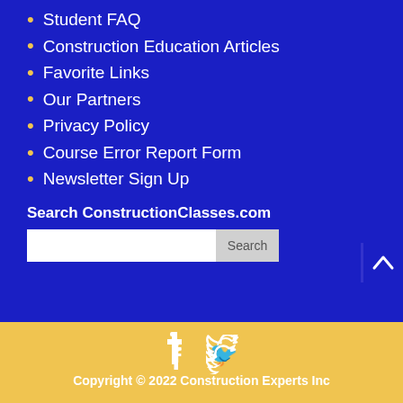Student FAQ
Construction Education Articles
Favorite Links
Our Partners
Privacy Policy
Course Error Report Form
Newsletter Sign Up
Search ConstructionClasses.com
Copyright © 2022 Construction Experts Inc